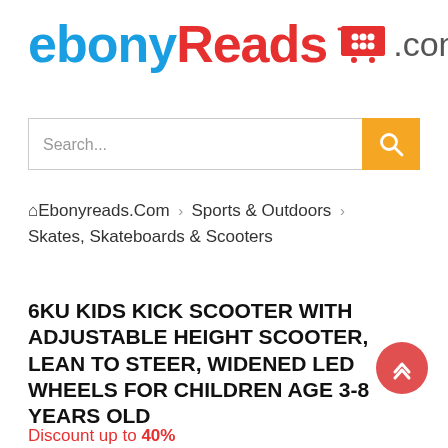ebonyReads .com
[Figure (screenshot): Search bar with orange search button]
Ebonyreads.Com › Sports & Outdoors › Skates, Skateboards & Scooters
6KU KIDS KICK SCOOTER WITH ADJUSTABLE HEIGHT SCOOTER, LEAN TO STEER, WIDENED LED WHEELS FOR CHILDREN AGE 3-8 YEARS OLD
Discount up to 40%